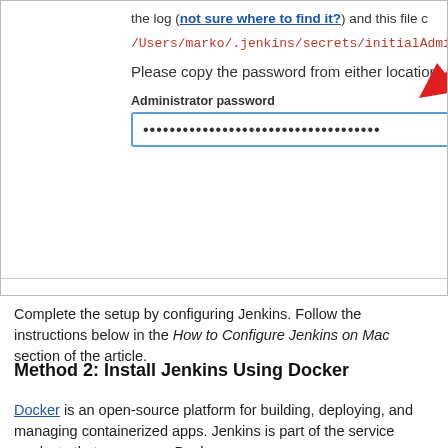[Figure (screenshot): Screenshot of Jenkins setup page showing a path in red monospace text '/Users/marko/.jenkins/secrets/initialAdmin', instructional text 'Please copy the password from either location', an 'Administrator password' label, a password input field filled with dots, and a red arrow pointing to the input field.]
Complete the setup by configuring Jenkins. Follow the instructions below in the How to Configure Jenkins on Mac section of the article.
Method 2: Install Jenkins Using Docker
Docker is an open-source platform for building, deploying, and managing containerized apps. Jenkins is part of the service products that can run on Docker.